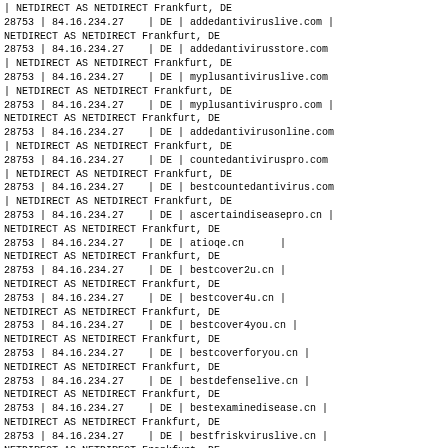| NETDIRECT AS NETDIRECT Frankfurt, DE
28753 | 84.16.234.27    | DE | addedantiviruslive.com |
NETDIRECT AS NETDIRECT Frankfurt, DE
28753 | 84.16.234.27    | DE | addedantivirusstore.com
| NETDIRECT AS NETDIRECT Frankfurt, DE
28753 | 84.16.234.27    | DE | myplusantiviruslive.com
| NETDIRECT AS NETDIRECT Frankfurt, DE
28753 | 84.16.234.27    | DE | myplusantiviruspro.com |
NETDIRECT AS NETDIRECT Frankfurt, DE
28753 | 84.16.234.27    | DE | addedantivirusonline.com
| NETDIRECT AS NETDIRECT Frankfurt, DE
28753 | 84.16.234.27    | DE | countedantiviruspro.com
| NETDIRECT AS NETDIRECT Frankfurt, DE
28753 | 84.16.234.27    | DE | bestcountedantivirus.com
| NETDIRECT AS NETDIRECT Frankfurt, DE
28753 | 84.16.234.27    | DE | ascertaindiseasepro.cn |
NETDIRECT AS NETDIRECT Frankfurt, DE
28753 | 84.16.234.27    | DE | atioqe.cn      |
NETDIRECT AS NETDIRECT Frankfurt, DE
28753 | 84.16.234.27    | DE | bestcover2u.cn |
NETDIRECT AS NETDIRECT Frankfurt, DE
28753 | 84.16.234.27    | DE | bestcover4u.cn |
NETDIRECT AS NETDIRECT Frankfurt, DE
28753 | 84.16.234.27    | DE | bestcover4you.cn |
NETDIRECT AS NETDIRECT Frankfurt, DE
28753 | 84.16.234.27    | DE | bestcoverforyou.cn |
NETDIRECT AS NETDIRECT Frankfurt, DE
28753 | 84.16.234.27    | DE | bestdefenselive.cn |
NETDIRECT AS NETDIRECT Frankfurt, DE
28753 | 84.16.234.27    | DE | bestexaminedisease.cn |
NETDIRECT AS NETDIRECT Frankfurt, DE
28753 | 84.16.234.27    | DE | bestfriskviruslive.cn |
NETDIRECT AS NETDIRECT Frankfurt, DE
28753 | 84.16.234.27    | DE | bestprotectiononline.cn
| NETDIRECT AS NETDIRECT Frankfurt, DE
28753 | 84.16.234.27    | DE | bigcoverlive.cn |
NETDIRECT AS NETDIRECT Frankfurt, DE
28753 | 84.16.234.27    | DE | bigdefense2u.cn |
NETDIRECT AS NETDIRECT Frankfurt, DE
28753 | 84.16.234.27    | DE | bigprotectionlive.cn |
NETDIRECT AS NETDIRECT Frankfurt, DE